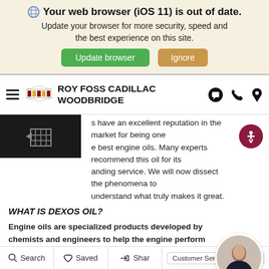🌐 Your web browser (iOS 11) is out of date. Update your browser for more security, speed and the best experience on this site.
Update browser | Ignore
ROY FOSS CADILLAC WOODBRIDGE
s have an excellent reputation in the market for being one e best engine oils. Many experts recommend this oil for its anding service. We will now dissect the phenomena to understand what truly makes it great.
WHAT IS DEXOS OIL?
Engine oils are specialized products developed by chemists and engineers to help the engine perform essential functions. Dexos oil is one of the few engine oils that meets the most precise specifications.
Dexos itself is not an oil. It is more of a category made by
Search | Saved | Shar | Customer Service Specialist